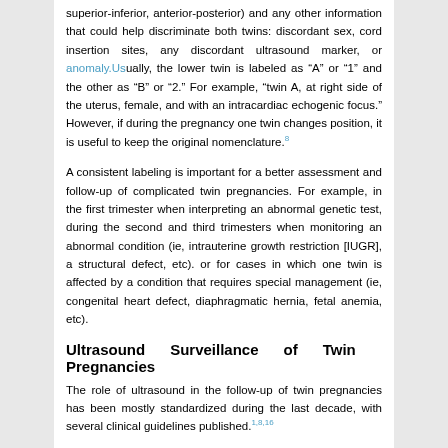superior-inferior, anterior-posterior) and any other information that could help discriminate both twins: discordant sex, cord insertion sites, any discordant ultrasound marker, or anomaly. Usually, the lower twin is labeled as "A" or "1" and the other as "B" or "2." For example, "twin A, at right side of the uterus, female, and with an intracardiac echogenic focus." However, if during the pregnancy one twin changes position, it is useful to keep the original nomenclature.8
A consistent labeling is important for a better assessment and follow-up of complicated twin pregnancies. For example, in the first trimester when interpreting an abnormal genetic test, during the second and third trimesters when monitoring an abnormal condition (ie, intrauterine growth restriction [IUGR], a structural defect, etc). or for cases in which one twin is affected by a condition that requires special management (ie, congenital heart defect, diaphragmatic hernia, fetal anemia, etc).
Ultrasound Surveillance of Twin Pregnancies
The role of ultrasound in the follow-up of twin pregnancies has been mostly standardized during the last decade, with several clinical guidelines published.1,8,16